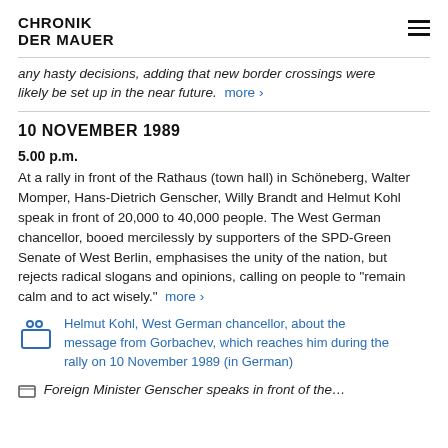CHRONIK DER MAUER
any hasty decisions, adding that new border crossings were likely be set up in the near future.
10 NOVEMBER 1989
5.00 p.m.
At a rally in front of the Rathaus (town hall) in Schöneberg, Walter Momper, Hans-Dietrich Genscher, Willy Brandt and Helmut Kohl speak in front of 20,000 to 40,000 people. The West German chancellor, booed mercilessly by supporters of the SPD-Green Senate of West Berlin, emphasises the unity of the nation, but rejects radical slogans and opinions, calling on people to "remain calm and to act wisely."
Helmut Kohl, West German chancellor, about the message from Gorbachev, which reaches him during the rally on 10 November 1989 (in German)
Foreign Minister Genscher speaks in front of the…